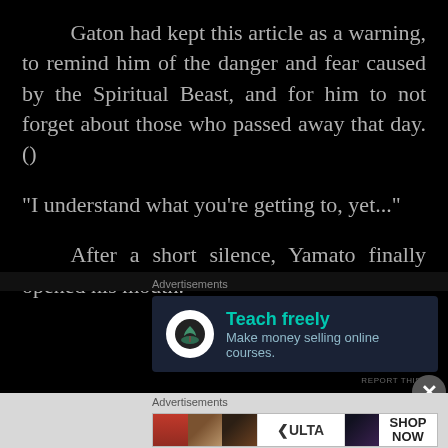Gaton had kept this article as a warning, to remind him of the danger and fear caused by the Spiritual Beast, and for him to not forget about those who passed away that day.()
“I understand what you’re getting to, yet...”
After a short silence, Yamato finally opened his mouth.
[Figure (other): Advertisement banner: Teach freely - Make money selling online courses. Features a bonsai tree logo icon on dark blue background.]
[Figure (other): Advertisement banner for ULTA beauty products showing makeup imagery (lips with lipstick, brush, eye, ULTA logo, eye with dramatic makeup) and SHOP NOW call to action.]